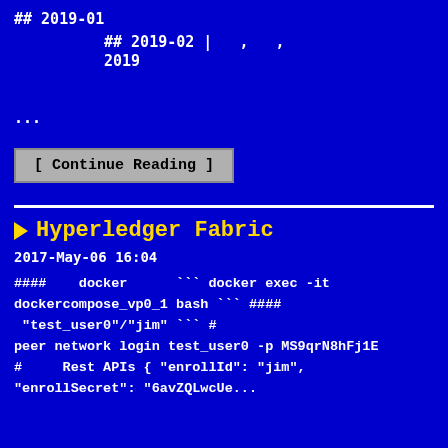## 2019-01
## 2019-02 |  ,  ,
2019
...
[ Continue Reading ]
▶ Hyperledger Fabric
2017-May-06 16:04
####    docker      ``` docker exec -it dockercompose_vp0_1 bash ``` ####
 "test_user0"/"jim" ``` #
peer network login test_user0 -p MS9qrN8hFj1E
#     Rest APIs { "enrollId": "jim",
"enrollSecret": "6avZQLwcUe...